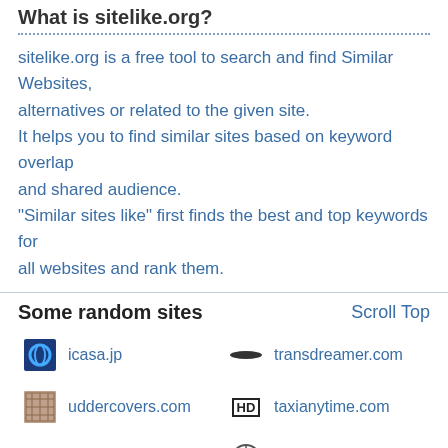What is sitelike.org?
sitelike.org is a free tool to search and find Similar Websites, alternatives or related to the given site. It helps you to find similar sites based on keyword overlap and shared audience. "Similar sites like" first finds the best and top keywords for all websites and rank them.
Some random sites
Scroll Top
icasa.jp
transdreamer.com
uddercovers.com
taxianytime.com
flipkartsales.com
astrolady.wix.com